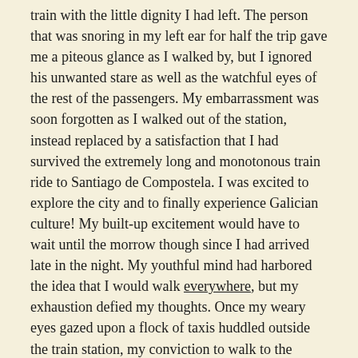train with the little dignity I had left. The person that was snoring in my left ear for half the trip gave me a piteous glance as I walked by, but I ignored his unwanted stare as well as the watchful eyes of the rest of the passengers. My embarrassment was soon forgotten as I walked out of the station, instead replaced by a satisfaction that I had survived the extremely long and monotonous train ride to Santiago de Compostela. I was excited to explore the city and to finally experience Galician culture! My built-up excitement would have to wait until the morrow though since I had arrived late in the night. My youthful mind had harbored the idea that I would walk everywhere, but my exhaustion defied my thoughts. Once my weary eyes gazed upon a flock of taxis huddled outside the train station, my conviction to walk to the hostel withered to dust.
Check-in had already come and passed by the time that I got to Roots & Boots Hostel, but thankfully, ________ had given me the code to get in and settled in my room. After locating the only empty bed in room 24, I hoisted my bag off my shoulders and on to the top bunk, which woke the entire room. Ashamed, I decided that I was awake enough to not want to go to bed